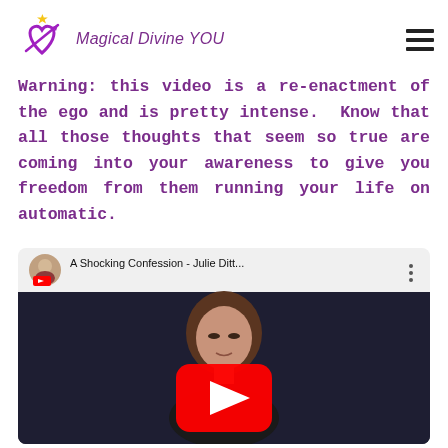Magical Divine YOU
Warning: this video is a re-enactment of the ego and is pretty intense.  Know that all those thoughts that seem so true are coming into your awareness to give you freedom from them running your life on automatic.
[Figure (screenshot): YouTube video thumbnail showing 'A Shocking Confession - Julie Ditt...' with a play button overlay and a woman's face visible below the video bar.]